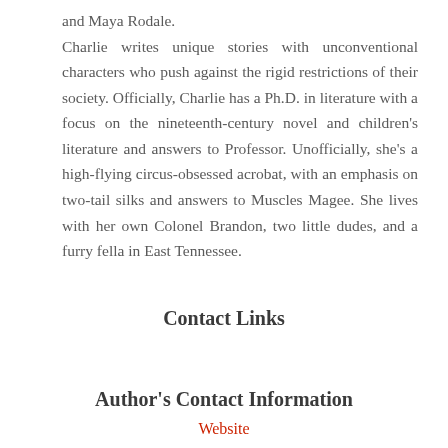and Maya Rodale. Charlie writes unique stories with unconventional characters who push against the rigid restrictions of their society. Officially, Charlie has a Ph.D. in literature with a focus on the nineteenth-century novel and children's literature and answers to Professor. Unofficially, she's a high-flying circus-obsessed acrobat, with an emphasis on two-tail silks and answers to Muscles Magee. She lives with her own Colonel Brandon, two little dudes, and a furry fella in East Tennessee.
Contact Links
Author's Contact Information
Website